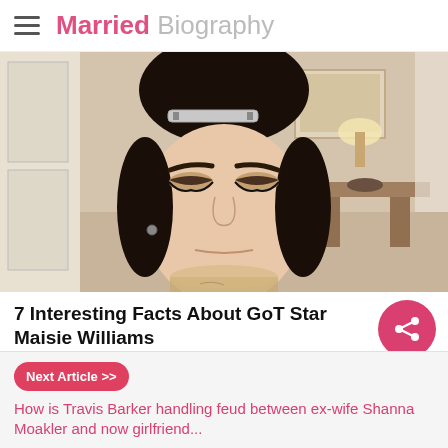Married Biography
[Figure (photo): Close-up photo of a young woman with dark hair styled in a bun with a silver hair clip, wearing smoky eye makeup, in a room setting]
7 Interesting Facts About GoT Star Maisie Williams
BRAINBERRIES
Next Article >> How is Travis Barker handling feud between ex-wife Shanna Moakler and now girlfriend...